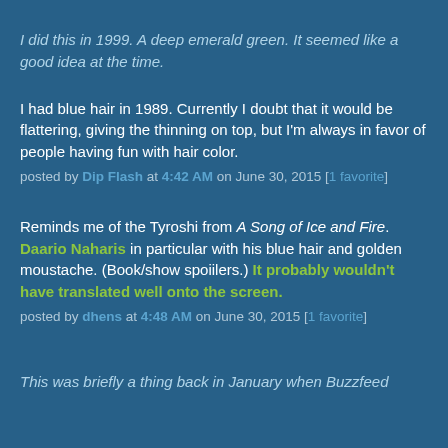I did this in 1999. A deep emerald green. It seemed like a good idea at the time.
I had blue hair in 1989. Currently I doubt that it would be flattering, giving the thinning on top, but I'm always in favor of people having fun with hair color.
posted by Dip Flash at 4:42 AM on June 30, 2015 [1 favorite]
Reminds me of the Tyroshi from A Song of Ice and Fire. Daario Naharis in particular with his blue hair and golden moustache. (Book/show spoiilers.) It probably wouldn't have translated well onto the screen.
posted by dhens at 4:48 AM on June 30, 2015 [1 favorite]
This was briefly a thing back in January when Buzzfeed